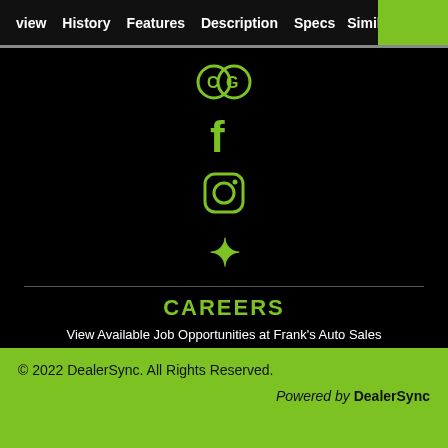view  History  Features  Description  Specs  Similar
[Figure (logo): Green CarGurus logo icon (two overlapping circles with C and G letters)]
[Figure (logo): Green Facebook 'f' icon]
[Figure (logo): Green Instagram camera icon]
[Figure (logo): Green Yelp burst icon]
CAREERS
View Available Job Opportunities at Frank's Auto Sales
PRIVACY POLICY
DISCLAIMER NOTICE
© 2022 DealerSync. All Rights Reserved. Powered by DealerSync